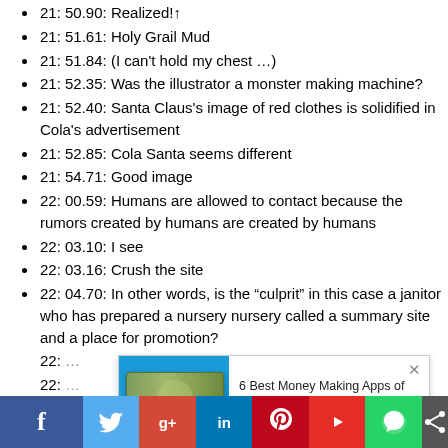21: 50.90: Realized!↑
21: 51.61: Holy Grail Mud
21: 51.84: (I can't hold my chest …)
21: 52.35: Was the illustrator a monster making machine?
21: 52.40: Santa Claus's image of red clothes is solidified in Cola's advertisement
21: 52.85: Cola Santa seems different
21: 54.71: Good image
22: 00.59: Humans are allowed to contact because the rumors created by humans are created by humans
22: 03.10: I see
22: 03.16: Crush the site
22: 04.70: In other words, is the “culprit” in this case a janitor who has prepared a nursery nursery called a summary site and a place for promotion?
22: [partially obscured]
22: [partially obscured]
[Figure (screenshot): Ad overlay showing '6 Best Money Making Apps of 2022 That Actually Work' from Appurse with PurpleAds branding, with an image of a $100 bill being held]
[Figure (screenshot): Social media sharing bar at the bottom with Facebook, Twitter, Google+, LinkedIn, Pinterest, YouTube, WhatsApp icons and a share icon]